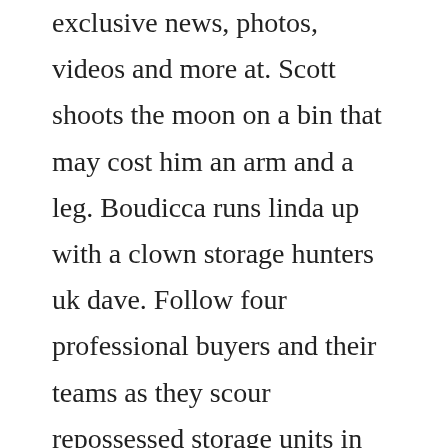exclusive news, photos, videos and more at. Scott shoots the moon on a bin that may cost him an arm and a leg. Boudicca runs linda up with a clown storage hunters uk dave. Follow four professional buyers and their teams as they scour repossessed storage units in search of hidden treasure in season 1 of storage wars. Storage hunters usa big container win and big container fail. Storage hunters uk season 4 episode 9 part 1 youtube. With sean kelly as your auctioneer, youll visit auction houses across the uk finding hidden treasure and making big money. Storage hunters uk returns